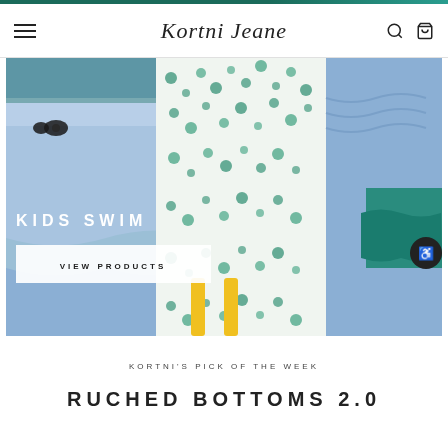Kortni Jeane
[Figure (photo): Flatlay photo of kids swimwear including blue swim shorts with black bow tie, blue ruffled bottoms, green and white floral print swimsuits, and teal swimwear pieces arranged together. Text overlay reads 'KIDS SWIM' with a 'VIEW PRODUCTS' button below.]
KORTNI'S PICK OF THE WEEK
RUCHED BOTTOMS 2.0